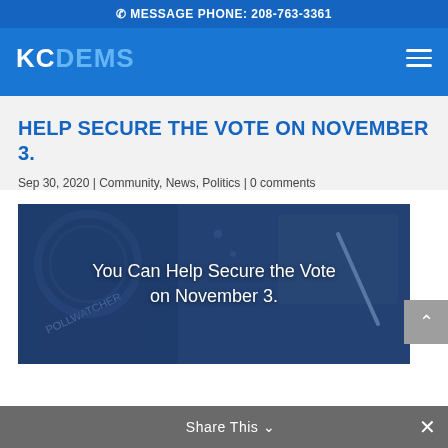MESSAGE PHONE: 208-763-3361
[Figure (screenshot): KC DEMS navigation bar with logo and hamburger menu on blue background]
HELP SECURE THE VOTE ON NOVEMBER 3.
Sep 30, 2020 | Community, News, Politics | 0 comments
[Figure (photo): Photo of a pollwatcher badge and pen/paper with dark blue overlay. Text overlay reads: You Can Help Secure the Vote on November 3.]
Share This